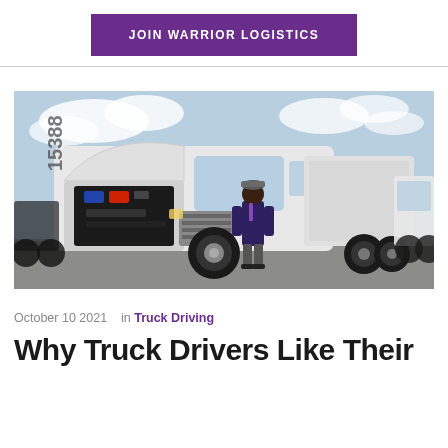JOIN WARRIOR LOGISTICS
[Figure (photo): A truck driver standing in front of a large white semi-truck with the hood open, showing the engine, in a truck yard with other trucks in the background.]
October 10 2021   in Truck Driving
Why Truck Drivers Like Their